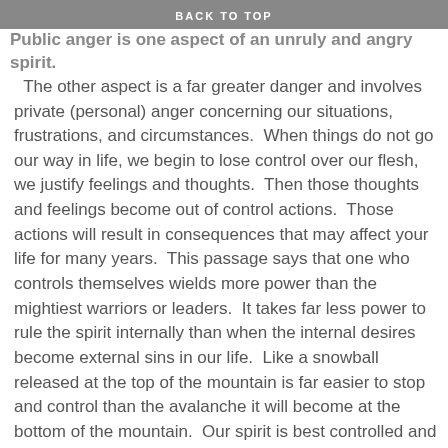BACK TO TOP
Public anger is one aspect of an unruly and angry spirit.  The other aspect is a far greater danger and involves private (personal) anger concerning our situations, frustrations, and circumstances.  When things do not go our way in life, we begin to lose control over our flesh, we justify feelings and thoughts.  Then those thoughts and feelings become out of control actions.  Those actions will result in consequences that may affect your life for many years.  This passage says that one who controls themselves wields more power than the mightiest warriors or leaders.  It takes far less power to rule the spirit internally than when the internal desires become external sins in our life.  Like a snowball released at the top of the mountain is far easier to stop and control than the avalanche it will become at the bottom of the mountain.  Our spirit is best controlled and ruled internally.  The wisdom of God given through Solemn in this Proverb is to fight the battle, while it takes great might, internally where